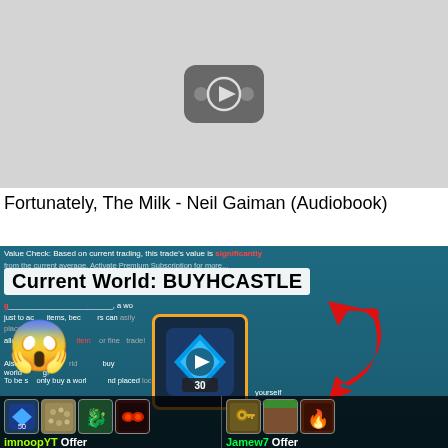[Figure (screenshot): YouTube-style video thumbnail placeholder showing a grey background with a play button icon in the center]
Fortunately, The Milk - Neil Gaiman (Audiobook)
[Figure (screenshot): Growtopia game screenshot showing a trade window. Text reads: Value Check: Based on current trading, this trade's value is significantly... Current World: BUYHCASTLE. Overlaid with a screaming emoji, a highlighted item icon with the number 30, a large red curved arrow, and bottom offer bars showing imnoopYT Offer and Jamew7 Offer with item icons.]